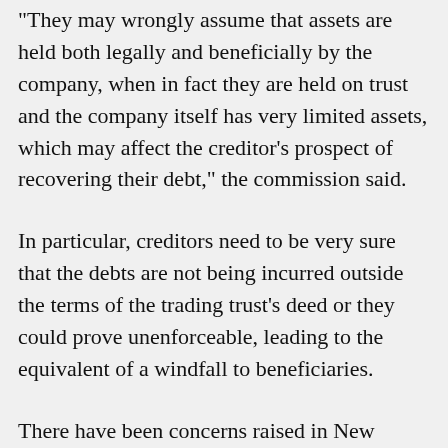“They may wrongly assume that assets are held both legally and beneficially by the company, when in fact they are held on trust and the company itself has very limited assets, which may affect the creditor’s prospect of recovering their debt,” the commission said.
In particular, creditors need to be very sure that the debts are not being incurred outside the terms of the trading trust’s deed or they could prove unenforceable, leading to the equivalent of a windfall to beneficiaries.
There have been concerns raised in New Zealand over trading trust secrecy, including by Justice Richard Blanchard